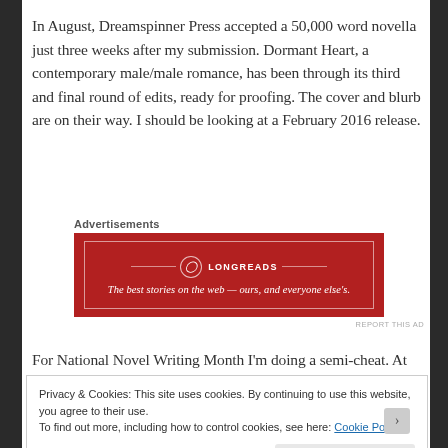In August, Dreamspinner Press accepted a 50,000 word novella just three weeks after my submission. Dormant Heart, a contemporary male/male romance, has been through its third and final round of edits, ready for proofing. The cover and blurb are on their way. I should be looking at a February 2016 release.
Advertisements
[Figure (other): Longreads advertisement banner. Red background with white border. Logo circle with 'L', brand name 'LONGREADS', tagline 'The best stories on the web — ours, and everyone else's.']
For National Novel Writing Month I'm doing a semi-cheat. At
Privacy & Cookies: This site uses cookies. By continuing to use this website, you agree to their use.
To find out more, including how to control cookies, see here: Cookie Policy